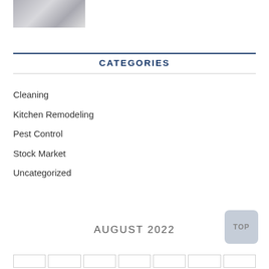[Figure (photo): Small thumbnail image showing what appears to be an interior space with sign stands or displays]
CATEGORIES
Cleaning
Kitchen Remodeling
Pest Control
Stock Market
Uncategorized
AUGUST 2022